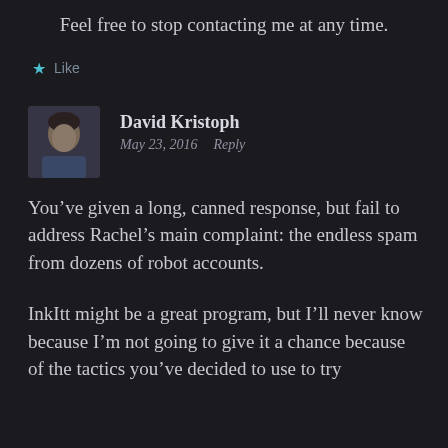Feel free to stop contacting me at any time.
Like
David Kristoph
May 23, 2016   Reply
You’ve given a long, canned response, but fail to address Rachel’s main complaint: the endless spam from dozens of robot accounts.
InkItt might be a great program, but I’ll never know because I’m not going to give it a chance because of the tactics you’ve decided to use to try